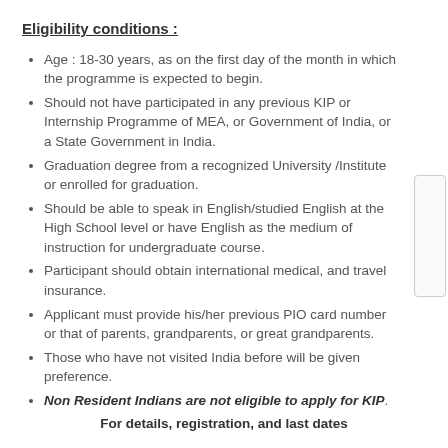Eligibility conditions :
Age : 18-30 years, as on the first day of the month in which the programme is expected to begin.
Should not have participated in any previous KIP or Internship Programme of MEA, or Government of India, or a State Government in India.
Graduation degree from a recognized University /Institute or enrolled for graduation.
Should be able to speak in English/studied English at the High School level or have English as the medium of instruction for undergraduate course.
Participant should obtain international medical, and travel insurance.
Applicant must provide his/her previous PIO card number or that of parents, grandparents, or great grandparents.
Those who have not visited India before will be given preference.
Non Resident Indians are not eligible to apply for KIP.
For details, registration, and last dates